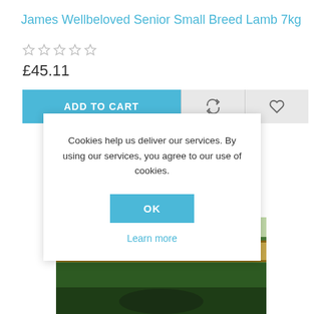James Wellbeloved Senior Small Breed Lamb 7kg
☆☆☆☆☆
£45.11
ADD TO CART
[Figure (screenshot): Product image of James Wellbeloved dog food bag, green packaging with gold label band]
Cookies help us deliver our services. By using our services, you agree to our use of cookies.
OK
Learn more